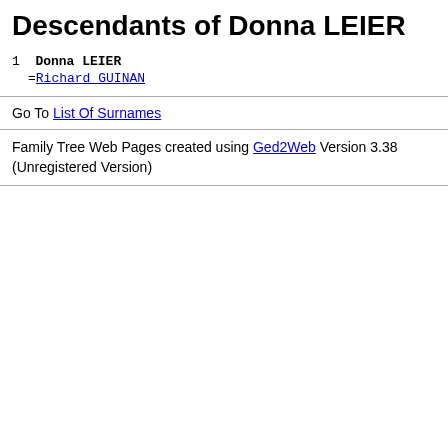Descendants of Donna LEIER
1  Donna LEIER
  =Richard GUINAN
Go To List Of Surnames
Family Tree Web Pages created using Ged2Web Version 3.38 (Unregistered Version)